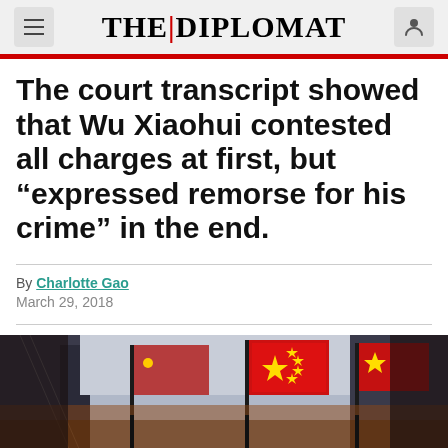THE|DIPLOMAT
The court transcript showed that Wu Xiaohui contested all charges at first, but “expressed remorse for his crime” in the end.
By Charlotte Gao
March 29, 2018
[Figure (photo): Chinese flags flying in front of a building — photograph used to illustrate news article]